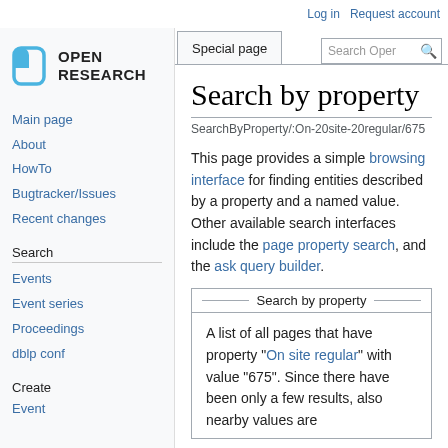Log in   Request account
[Figure (logo): Open Research logo with rounded square icon and text OPEN RESEARCH]
Main page
About
HowTo
Bugtracker/Issues
Recent changes
Search
Events
Event series
Proceedings
dblp conf
Create
Event
Special page
Search by property
SearchByProperty/:On-20site-20regular/675
This page provides a simple browsing interface for finding entities described by a property and a named value. Other available search interfaces include the page property search, and the ask query builder.
Search by property
A list of all pages that have property "On site regular" with value "675". Since there have been only a few results, also nearby values are